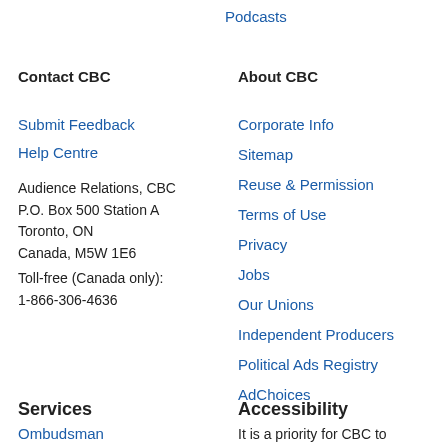Podcasts
Contact CBC
About CBC
Submit Feedback
Help Centre
Audience Relations, CBC
P.O. Box 500 Station A
Toronto, ON
Canada, M5W 1E6
Toll-free (Canada only):
1-866-306-4636
Corporate Info
Sitemap
Reuse & Permission
Terms of Use
Privacy
Jobs
Our Unions
Independent Producers
Political Ads Registry
AdChoices
Services
Accessibility
Ombudsman
It is a priority for CBC to